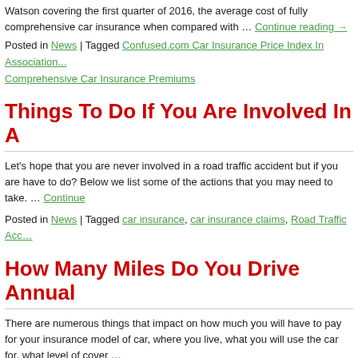Watson covering the first quarter of 2016, the average cost of fully comprehens... when compared with … Continue reading →
Posted in News | Tagged Confused.com Car Insurance Price Index In Association... Comprehensive Car Insurance Premiums
Things To Do If You Are Involved In A...
Let's hope that you are never involved in a road traffic accident but if you are h... to do? Below we list some of the actions that you may need to take. … Continu...
Posted in News | Tagged car insurance, car insurance claims, Road Traffic Acc...
How Many Miles Do You Drive Annual...
There are numerous things that impact on how much you will have to pay for yo... model of car, where you live, what you will use the car for, what level of cover ...
Posted in News | Tagged car insurance, Car Insurance Premiums, Car Mileage...
[Figure (illustration): Banner image showing grass, flowers (daisies), and a light blue sky background.]